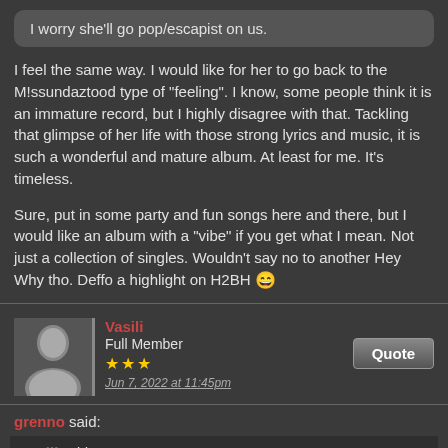I worry she'll go pop/escapist on us.
I feel the same way. I would like for her to go back to the M!ssundaztood type of "feeling". I know, some people think it is an immature record, but I highly disagree with that. Tackling that glimpse of her life with those strong lyrics and music, it is such a wonderful and mature album. At least for me. It's timeless.
Sure, put in some party and fun songs here and there, but I would like an album with a "vibe" if you get what I mean. Not just a collection of singles. Wouldn't say no to another Hey Why tho. Deffo a highlight on H2BH 😄
Vasili
Full Member
★★★
Jun 7, 2022 at 11:45pm
grenno said:
Vasili said:
I worry she'll go pop/escapist on us.
I feel the same way. I would like for her to go back to the M!ssundaztood type of "feeling". I know, some people think it is an immature record, but I highly disagree with that. Tackling that